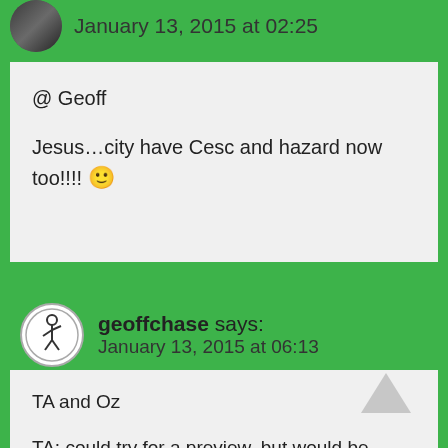January 13, 2015 at 02:25
@ Geoff

Jesus…city have Cesc and hazard now too!!!!  🙂
geoffchase says:
January 13, 2015 at 06:13
TA and Oz

TA: could try for a preview, but would be short and much like above. Basically, it is good enough if it is good enough. If we are solid at the back and able to shut